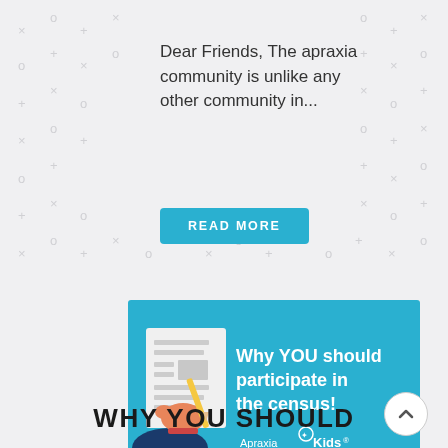Dear Friends, The apraxia community is unlike any other community in...
READ MORE
[Figure (illustration): Blue banner image with text 'Why YOU should participate in the census!' and an illustration of hands filling out a form with a pencil. Apraxia Kids logo in bottom right.]
WHY YOU SHOULD